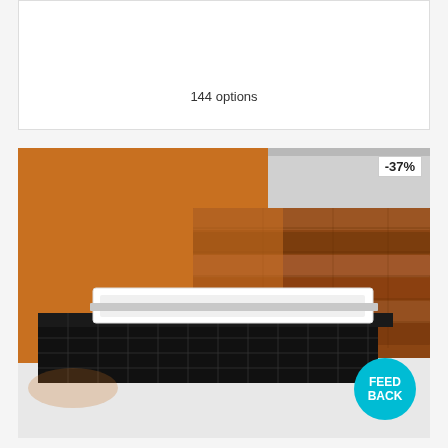144 options
[Figure (photo): Bathroom product photo showing a rectangular white bathtub set on a black tiled platform. Background wall features orange/amber color on the left side and wood-grain paneling on the right side. A -37% discount badge appears in the top right corner. A teal 'FEED BACK' circular badge appears in the bottom right corner.]